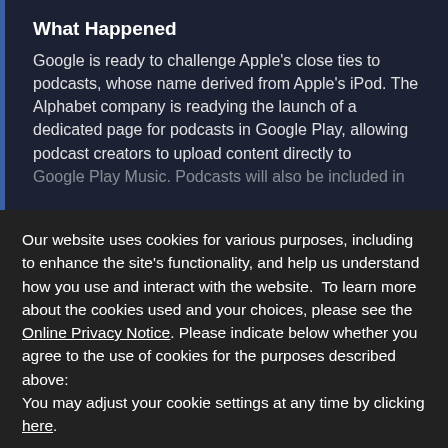What Happened
Google is ready to challenge Apple's close ties to podcasts, whose name derived from Apple's iPod. The Alphabet company is readying the launch of a dedicated page for podcasts in Google Play, allowing podcast creators to upload content directly to Google Play Music. Podcasts will also be included in
Our website uses cookies for various purposes, including to enhance the site's functionality, and help us understand how you use and interact with the website.  To learn more about the cookies used and your choices, please see the Online Privacy Notice. Please indicate below whether you agree to the use of cookies for the purposes described above:
You may adjust your cookie settings at any time by clicking here.
Yes
No